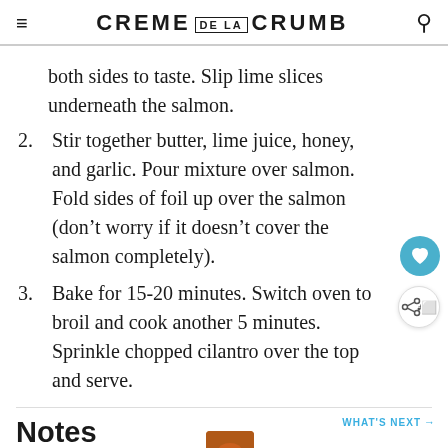CREME DE LA CRUMB
both sides to taste. Slip lime slices underneath the salmon.
2. Stir together butter, lime juice, honey, and garlic. Pour mixture over salmon. Fold sides of foil up over the salmon (don’t worry if it doesn’t cover the salmon completely).
3. Bake for 15-20 minutes. Switch oven to broil and cook another 5 minutes. Sprinkle chopped cilantro over the top and serve.
Notes
Don’t stress about the size of your salmon fillet.
[Figure (screenshot): SHE CAN STEM advertisement banner at bottom of page]